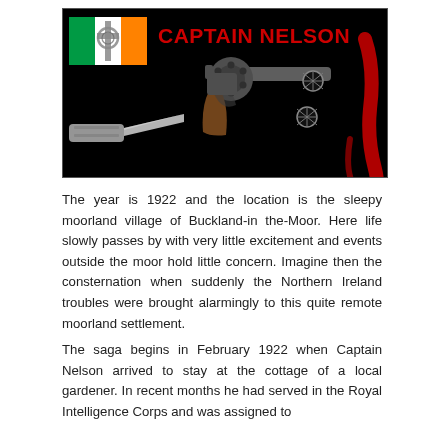[Figure (illustration): Black background banner image titled 'CAPTAIN NELSON' in large red bold text. Contains an Irish tricolor flag with a Celtic cross overlay, a revolver handgun, a switchblade knife, bullet holes, and red blood drip graphics.]
The year is 1922 and the location is the sleepy moorland village of Buckland-in the-Moor. Here life slowly passes by with very little excitement and events outside the moor hold little concern. Imagine then the consternation when suddenly the Northern Ireland troubles were brought alarmingly to this quite remote moorland settlement.
The saga begins in February 1922 when Captain Nelson arrived to stay at the cottage of a local gardener. In recent months he had served in the Royal Intelligence Corps and was assigned to